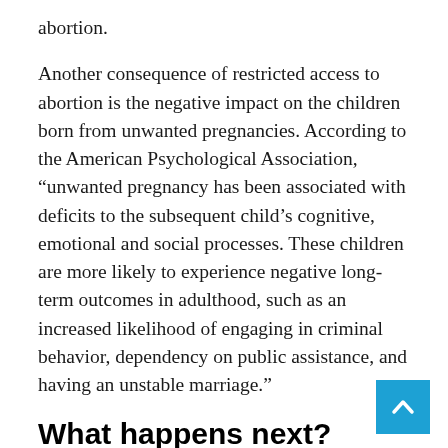abortion.
Another consequence of restricted access to abortion is the negative impact on the children born from unwanted pregnancies. According to the American Psychological Association, “unwanted pregnancy has been associated with deficits to the subsequent child’s cognitive, emotional and social processes. These children are more likely to experience negative long-term outcomes in adulthood, such as an increased likelihood of engaging in criminal behavior, dependency on public assistance, and having an unstable marriage.”
What happens next?
The US Supreme Court hasn’t yet officially ruled to overturn the decision protecting the right to